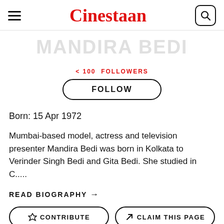Cinestaan
MANDIRA BEDI
< 100  FOLLOWERS
FOLLOW
Born: 15 Apr 1972
Mumbai-based model, actress and television presenter Mandira Bedi was born in Kolkata to Verinder Singh Bedi and Gita Bedi. She studied in C.....
READ BIOGRAPHY →
CONTRIBUTE
CLAIM THIS PAGE